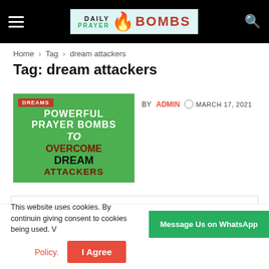Daily Prayer Bombs — site header with hamburger menu and search icon
Home > Tag > dream attackers
Tag: dream attackers
[Figure (illustration): Green background image with text: DREAMS badge (red), POWERFUL PRAYER BOMBS TO OVERCOME DREAM ATTACKERS]
BY ADMIN  MARCH 17, 2021
Search...
This website uses cookies. By continuing giving consent to cookies being used. Policy.
Message Us on WhatsApp
I Agree